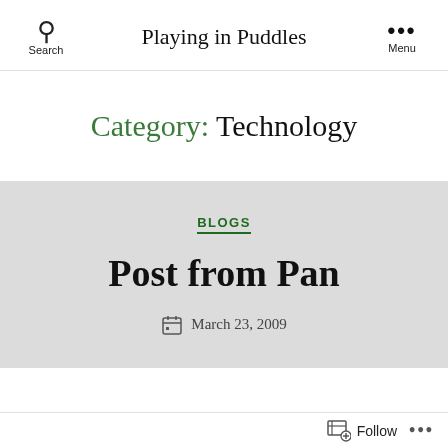Search   Playing in Puddles   Menu
Category: Technology
BLOGS
Post from Pan
March 23, 2009
Follow